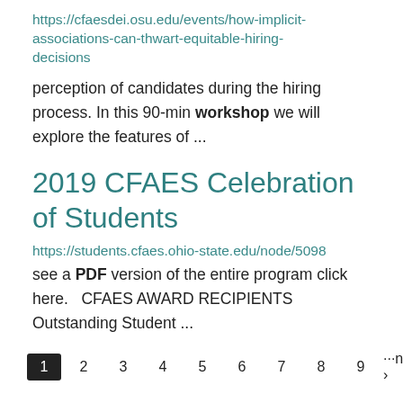https://cfaesdei.osu.edu/events/how-implicit-associations-can-thwart-equitable-hiring-decisions
perception of candidates during the hiring process. In this 90-min workshop we will explore the features of ...
2019 CFAES Celebration of Students
https://students.cfaes.ohio-state.edu/node/5098
see a PDF version of the entire program click here.  CFAES AWARD RECIPIENTS Outstanding Student ...
1 2 3 4 5 6 7 8 9 ···next › last »